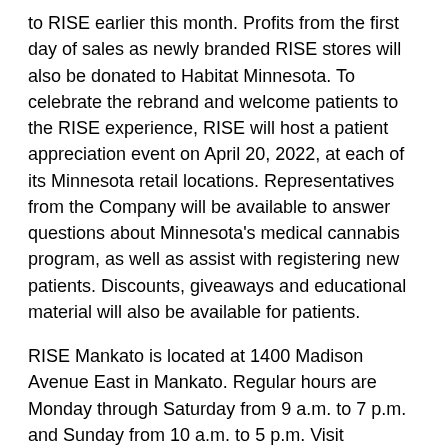to RISE earlier this month. Profits from the first day of sales as newly branded RISE stores will also be donated to Habitat Minnesota. To celebrate the rebrand and welcome patients to the RISE experience, RISE will host a patient appreciation event on April 20, 2022, at each of its Minnesota retail locations. Representatives from the Company will be available to answer questions about Minnesota's medical cannabis program, as well as assist with registering new patients. Discounts, giveaways and educational material will also be available for patients.
RISE Mankato is located at 1400 Madison Avenue East in Mankato. Regular hours are Monday through Saturday from 9 a.m. to 7 p.m. and Sunday from 10 a.m. to 5 p.m. Visit www.risecannabis.com/mn for more information.
About Green Thumb Industries: